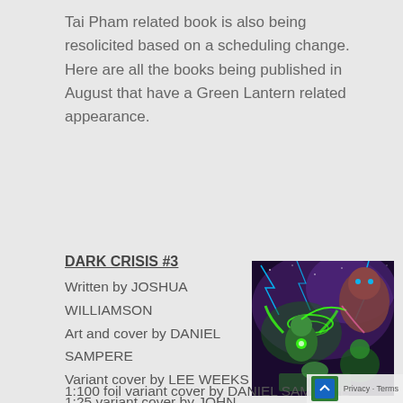Tai Pham related book is also being resolicited based on a scheduling change. Here are all the books being published in August that have a Green Lantern related appearance.
DARK CRISIS #3
Written by JOSHUA WILLIAMSON
Art and cover by DANIEL SAMPERE
Variant cover by LEE WEEKS
1:25 variant cover by JOHN GIANG
1:50 variant cover by ETHAN YOUNG
[Figure (illustration): Comic book cover art for Dark Crisis #3 showing Green Lantern characters in glowing green energy fighting against a large cosmic villain, with purple/blue lightning in a dark space background]
1:100 foil variant cover by DANIEL SAMPERE